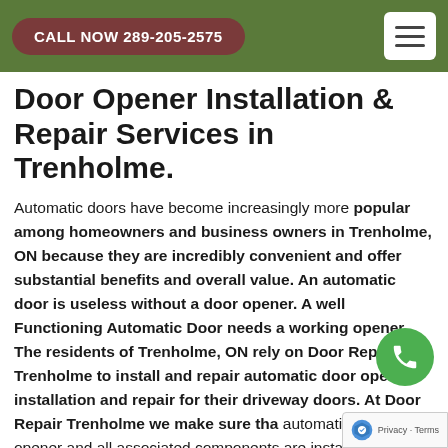CALL NOW 289-205-2575
Door Opener Installation & Repair Services in Trenholme.
Automatic doors have become increasingly more popular among homeowners and business owners in Trenholme, ON because they are incredibly convenient and offer substantial benefits and overall value. An automatic door is useless without a door opener. A well Functioning Automatic Door needs a working opener. The residents of Trenholme, ON rely on Door Repair Trenholme to install and repair automatic door opener installation and repair for their driveway doors. At Door Repair Trenholme we make sure tha automatic door opener and all associated components are installed correctly. Your satisfaction is our priority. At Door Repair